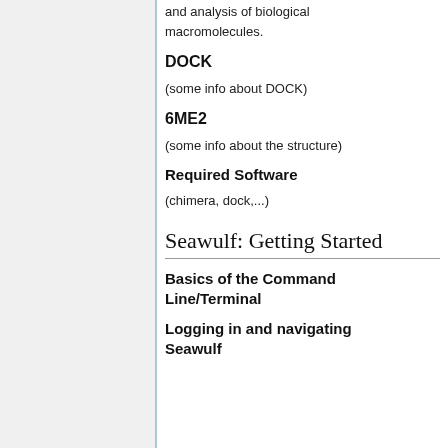and analysis of biological macromolecules.
DOCK
(some info about DOCK)
6ME2
(some info about the structure)
Required Software
(chimera, dock,...)
Seawulf: Getting Started
Basics of the Command Line/Terminal
Logging in and navigating Seawulf